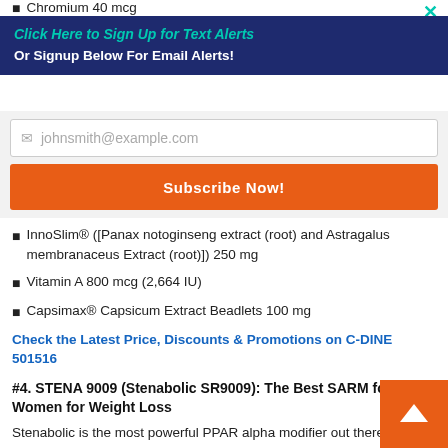Chromium 40 mcg
Click Here to Sign Up for Text Alerts
Or Signup Below For Email Alerts!
johnsmith@example.com (placeholder)
Subscribe Now!
InnoSlim® ([Panax notoginseng extract (root) and Astragalus membranaceus Extract (root)]) 250 mg
Vitamin A 800 mcg (2,664 IU)
Capsimax® Capsicum Extract Beadlets 100 mg
Check the Latest Price, Discounts & Promotions on C-DINE 501516
#4. STENA 9009 (Stenabolic SR9009): The Best SARM for Women for Weight Loss
Stenabolic is the most powerful PPAR alpha modifier out there. It